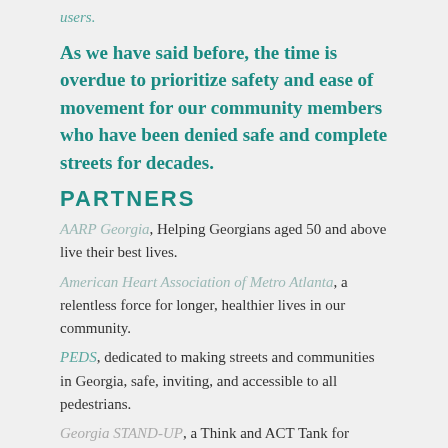users.
As we have said before, the time is overdue to prioritize safety and ease of movement for our community members who have been denied safe and complete streets for decades.
PARTNERS
AARP Georgia, Helping Georgians aged 50 and above live their best lives.
American Heart Association of Metro Atlanta, a relentless force for longer, healthier lives in our community.
PEDS, dedicated to making streets and communities in Georgia, safe, inviting, and accessible to all pedestrians.
Georgia STAND-UP, a Think and ACT Tank for